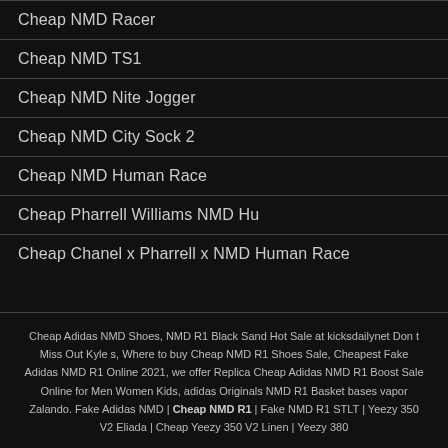Cheap NMD Racer
Cheap NMD TS1
Cheap NMD Nite Jogger
Cheap NMD City Sock 2
Cheap NMD Human Race
Cheap Pharrell Williams NMD Hu
Cheap Chanel x Pharrell x NMD Human Race
Cheap Adidas NMD Shoes, NMD R1 Black Sand Hot Sale at kicksdailynet Don t Miss Out Kyle s, Where to buy Cheap NMD R1 Shoes Sale, Cheapest Fake Adidas NMD R1 Online 2021, we offer Replica Cheap Adidas NMD R1 Boost Sale Online for Men Women Kids, adidas Originals NMD R1 Basket bases vapor Zalando. Fake Adidas NMD | Cheap NMD R1 | Fake NMD R1 STLT | Yeezy 350 V2 Eliada | Cheap Yeezy 350 V2 Linen | Yeezy 380